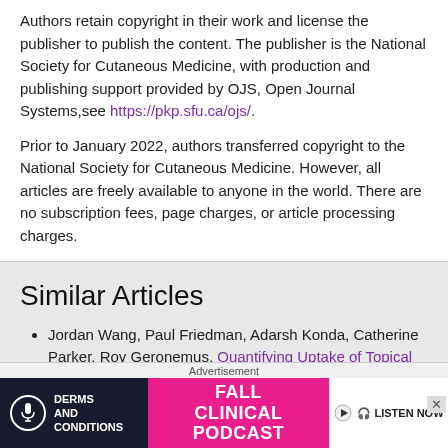Authors retain copyright in their work and license the publisher to publish the content. The publisher is the National Society for Cutaneous Medicine, with production and publishing support provided by OJS, Open Journal Systems, see https://pkp.sfu.ca/ojs/.
Prior to January 2022, authors transferred copyright to the National Society for Cutaneous Medicine. However, all articles are freely available to anyone in the world. There are no subscription fees, page charges, or article processing charges.
Similar Articles
Jordan Wang, Paul Friedman, Adarsh Konda, Catherine Parker, Roy Geronemus, Quantifying Uptake of Topical 4% Hydroquinone After 1440-nm and 1927-nm Non-ablative
[Figure (other): Advertisement banner: Derms and Conditions - Fall Clinical Podcast - Listen Now]